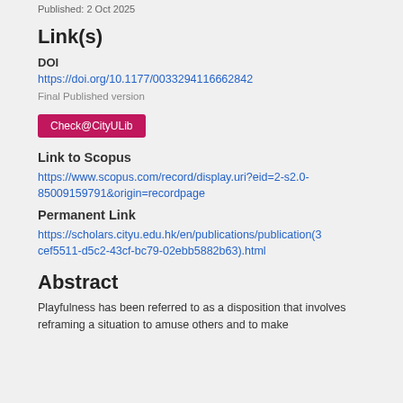Published: 2 Oct 2025
Link(s)
DOI
https://doi.org/10.1177/0033294116662842
Final Published version
Check@CityULib
Link to Scopus
https://www.scopus.com/record/display.uri?eid=2-s2.0-85009159791&origin=recordpage
Permanent Link
https://scholars.cityu.edu.hk/en/publications/publication(3cef5511-d5c2-43cf-bc79-02ebb5882b63).html
Abstract
Playfulness has been referred to as a disposition that involves reframing a situation to amuse others and to make